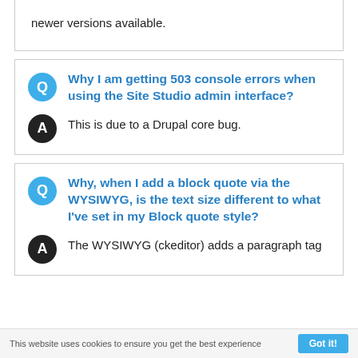newer versions available.
Why I am getting 503 console errors when using the Site Studio admin interface?
This is due to a Drupal core bug.
Why, when I add a block quote via the WYSIWYG, is the text size different to what I've set in my Block quote style?
The WYSIWYG (ckeditor) adds a paragraph tag
This website uses cookies to ensure you get the best experience